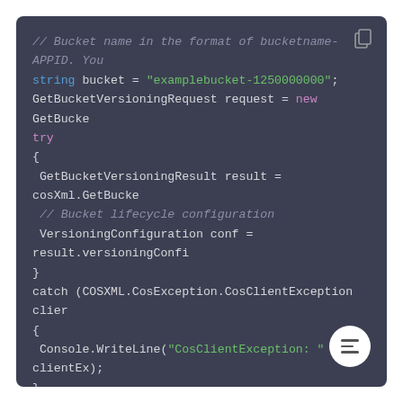[Figure (screenshot): Code snippet in a dark IDE/editor style panel showing C# code for getting bucket versioning with try/catch blocks. Uses syntax highlighting: pink for keywords (string, try, new), green for string literals (examplebucket-1250000000, CosClientException:, CosServerException:), and gray-italic for comments.]